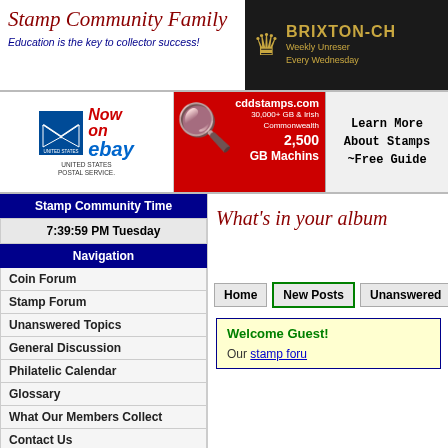[Figure (logo): Stamp Community Family logo with tagline 'Education is the key to collector success!']
[Figure (logo): Brixton-Ch... advertisement banner with crown icon, 'Weekly Unreserved Every Wednesday']
[Figure (screenshot): USPS 'Now on ebay' advertisement]
[Figure (screenshot): cddstamps.com advertisement: 30,000+ GB & Irish Commonwealth, 2,500 GB Machins]
Learn More About Stamps ~Free Guide
Stamp Community Time
7:39:59 PM Tuesday
Navigation
Coin Forum
Stamp Forum
Unanswered Topics
General Discussion
Philatelic Calendar
Glossary
What Our Members Collect
Contact Us
Advertise Here
SCF Reccomended
What's in your album
Home  New Posts  Unanswered
Welcome Guest!  Our stamp foru